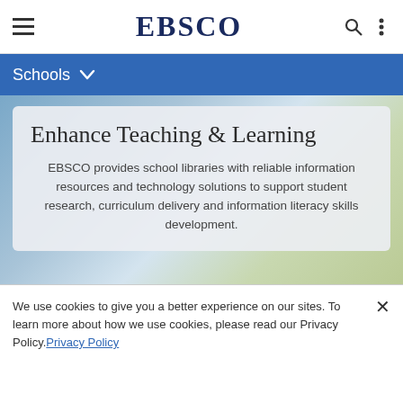EBSCO
Schools
[Figure (photo): Background photo of a student or school scene with blurred outdoor elements in blue and green tones]
Enhance Teaching & Learning
EBSCO provides school libraries with reliable information resources and technology solutions to support student research, curriculum delivery and information literacy skills development.
We use cookies to give you a better experience on our sites. To learn more about how we use cookies, please read our Privacy Policy. Privacy Policy